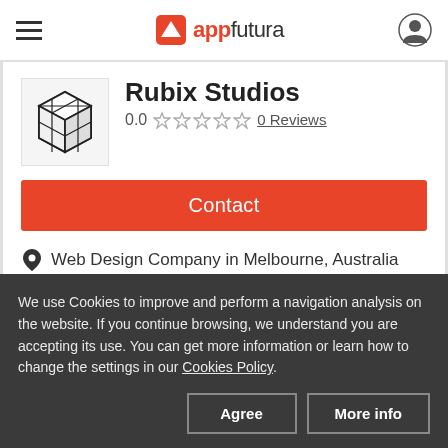appfutura
Rubix Studios
0.0 ☆☆☆☆☆ 0 Reviews
Contact
Web Design Company in Melbourne, Australia
We use Cookies to improve and perform a navigation analysis on the website. If you continue browsing, we understand you are accepting its use. You can get more information or learn how to change the settings in our Cookies Policy.
Agree
More info